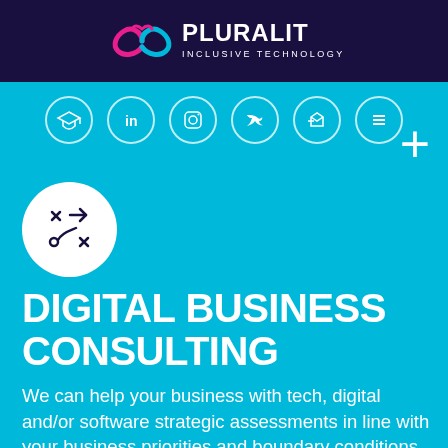[Figure (logo): Pluralit Inclusive Technology logo with pink/magenta infinity-like symbol and white text on dark navy background]
[Figure (infographic): Navigation icon bar with six circular icons: graduation cap, LinkedIn, Instagram, Twitter/bird, email/tag, menu/hamburger, on cyan background]
[Figure (illustration): White circle with strategy/playbook icon (X's, arrows, circles representing a game plan diagram) on cyan background]
DIGITAL BUSINESS CONSULTING
We can help your business with tech, digital and/or software strategic assessments in line with your business priorities and boundary conditions. Our experienced senior team has